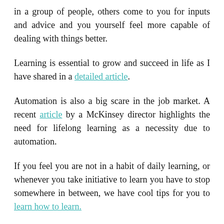in a group of people, others come to you for inputs and advice and you yourself feel more capable of dealing with things better.
Learning is essential to grow and succeed in life as I have shared in a detailed article.
Automation is also a big scare in the job market. A recent article by a McKinsey director highlights the need for lifelong learning as a necessity due to automation.
If you feel you are not in a habit of daily learning, or whenever you take initiative to learn you have to stop somewhere in between, we have cool tips for you to learn how to learn.
Now, where to start? There are various ways to kick-start this process of everyday learning.